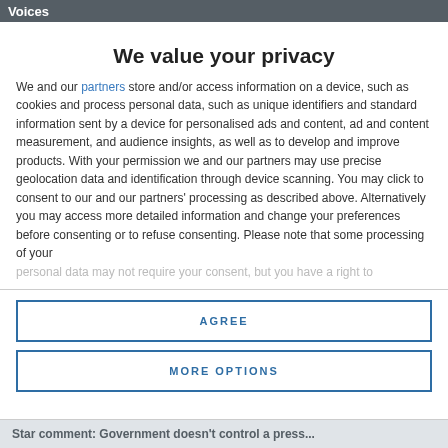Voices
We value your privacy
We and our partners store and/or access information on a device, such as cookies and process personal data, such as unique identifiers and standard information sent by a device for personalised ads and content, ad and content measurement, and audience insights, as well as to develop and improve products. With your permission we and our partners may use precise geolocation data and identification through device scanning. You may click to consent to our and our partners' processing as described above. Alternatively you may access more detailed information and change your preferences before consenting or to refuse consenting. Please note that some processing of your personal data may not require your consent, but you have a right to
AGREE
MORE OPTIONS
Star comment: Government doesn't control a press...